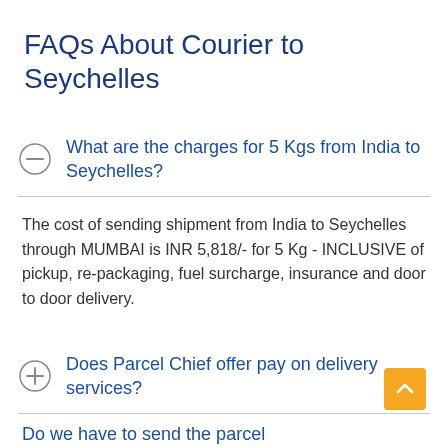FAQs About Courier to Seychelles
What are the charges for 5 Kgs from India to Seychelles?
The cost of sending shipment from India to Seychelles through MUMBAI is INR 5,818/- for 5 Kg - INCLUSIVE of pickup, re-packaging, fuel surcharge, insurance and door to door delivery.
Does Parcel Chief offer pay on delivery services?
Do we have to send the parcel